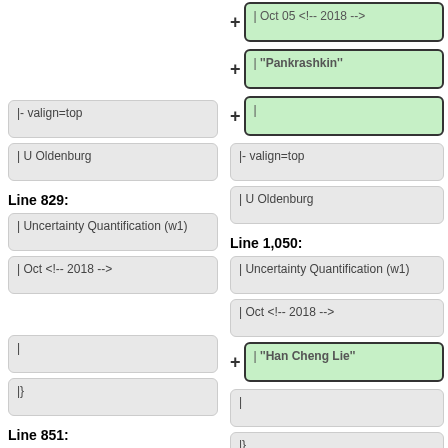[Figure (screenshot): Diff view showing two columns of wiki/markup code changes. Left column shows original lines 829 and 851, right column shows modified lines 1050 and 1073 with green highlighted additions including 'Oct 05 <!-- 2018 -->', '''Pankrashkin''', 'L', '|-- valign=top', '| U Oldenburg', '| Uncertainty Quantification (w1)', '| Oct <!-- 2018 -->', '''Han Cheng Lie''', '|', '|}', 'Line 829', 'Line 1050', 'Line 851', 'Line 1073']